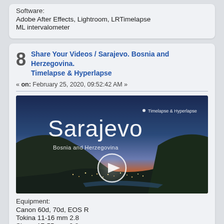Software:
Adobe After Effects, Lightroom, LRTimelapse
ML intervalometer
8  Share Your Videos / Sarajevo. Bosnia and Herzegovina. Timelapse & Hyperlapse
« on: February 25, 2020, 09:52:42 AM »
[Figure (screenshot): Video thumbnail showing Sarajevo city aerial view at sunset/dusk with text 'Sarajevo', 'Bosnia and Herzegovina', 'Timelapse & Hyperlapse' and a play button overlay]
Equipment:
Canon 60d, 70d, EOS R
Tokina 11-16 mm 2.8
Sigma 17-55 mm 2.8